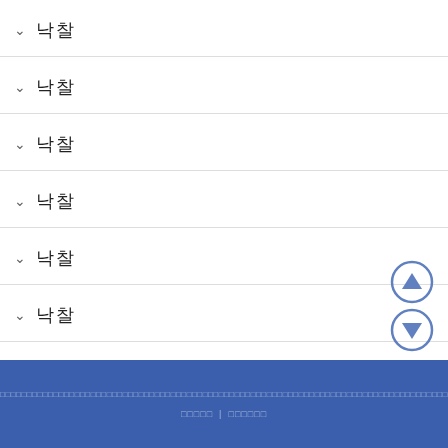▾ 낙찰
▾ 낙찰
▾ 낙찰
▾ 낙찰
▾ 낙찰
▾ 낙찰
□□□□□□□□□□□□□□□□□□□□□□□□□□□□□□□□□□□□□□□□□□□□□□□□□□□□□□□□□□□□□□□□□□□□□□□□□□□□□□□□□□□□□□□□□□ □□□□□ | □□□□□□